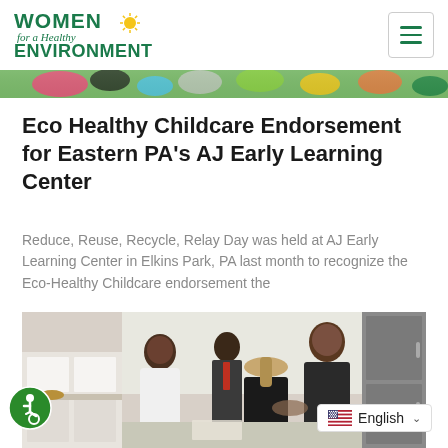Women for a Healthy Environment
[Figure (photo): Colorful hero banner strip with children's clothing/accessories visible at top]
Eco Healthy Childcare Endorsement for Eastern PA's AJ Early Learning Center
Reduce, Reuse, Recycle, Relay Day was held at AJ Early Learning Center in Elkins Park, PA last month to recognize the Eco-Healthy Childcare endorsement the
[Figure (photo): Photo of people shaking hands in a kitchen setting, including a woman in a dark blazer greeting someone in a black outfit, with another woman in white dress watching in background]
English